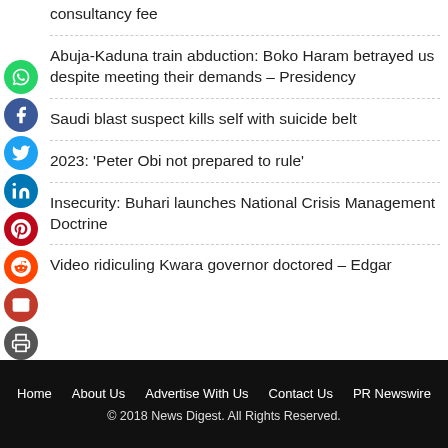consultancy fee
Abuja-Kaduna train abduction: Boko Haram betrayed us despite meeting their demands – Presidency
Saudi blast suspect kills self with suicide belt
2023: 'Peter Obi not prepared to rule'
Insecurity: Buhari launches National Crisis Management Doctrine
Video ridiculing Kwara governor doctored – Edgar
Home   About Us   Advertise With Us   Contact Us   PR Newswire
© 2018 News Digest. All Rights Reserved.